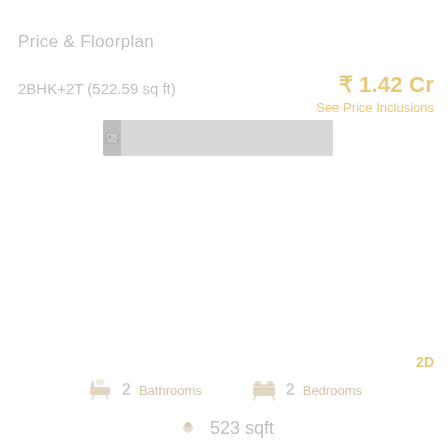Price &  Floorplan
2BHK+2T (522.59 sq ft)
₹ 1.42 Cr
See Price Inclusions
[Figure (photo): Floorplan image placeholder, gray rectangle with small image icon on left]
2D
2 Bathrooms
2 Bedrooms
523 sqft
carpet area